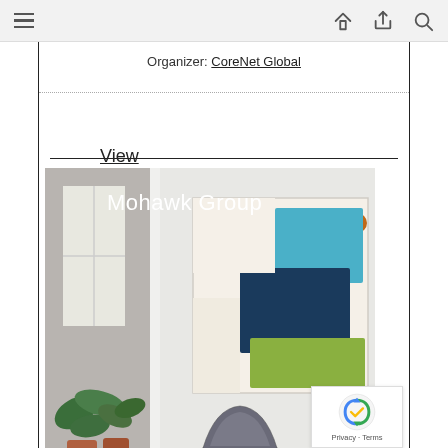Organizer: CoreNet Global
View More...
[Figure (photo): Interior design photo showing a modern office/room with a white tulip table, a modern grey chair with beige interior, a large abstract painting on the wall with blue, teal, green, and orange color blocks, and a hallway leading to a window with plants. The photo is labeled 'Mohawk Group' in white text.]
[Figure (other): reCAPTCHA badge with Google logo and 'Privacy - Terms' text]